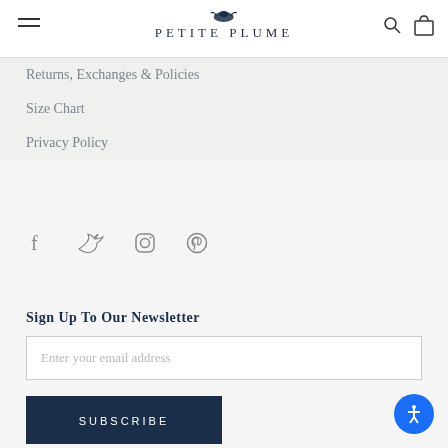Petite Plume
Returns, Exchanges & Policies
Size Chart
Privacy Policy
[Figure (other): Social media icons: Facebook, Twitter, Instagram, Pinterest]
Sign Up To Our Newsletter
Enter your email address
SUBSCRIBE